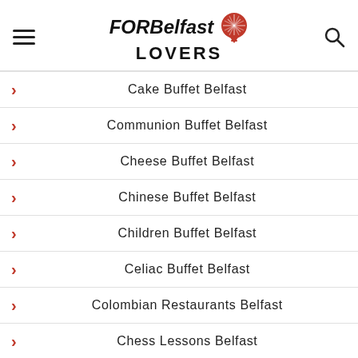FOR Belfast LOVERS
Cake Buffet Belfast
Communion Buffet Belfast
Cheese Buffet Belfast
Chinese Buffet Belfast
Children Buffet Belfast
Celiac Buffet Belfast
Colombian Restaurants Belfast
Chess Lessons Belfast